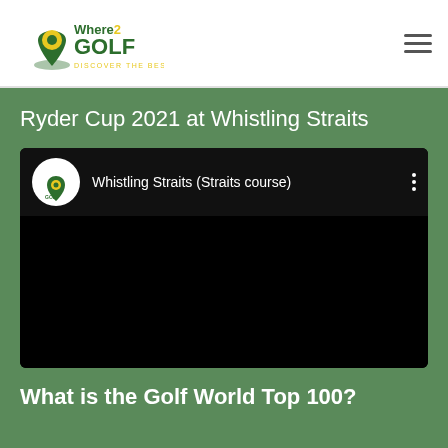[Figure (logo): Where2Golf logo with golf pin icon and 'DISCOVER THE BEST' tagline]
Ryder Cup 2021 at Whistling Straits
[Figure (screenshot): YouTube video embed showing 'Whistling Straits (Straits course)' with Where2Golf logo and three-dot menu, black video area]
What is the Golf World Top 100?